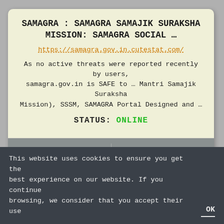SAMAGRA : SAMAGRA SAMAJIK SURAKSHA MISSION: SAMAGRA SOCIAL …
https://samagra.gov.in.cutestat.com/
As no active threats were reported recently by users, samagra.gov.in is SAFE to … Mantri Samajik Suraksha Mission), SSSM, SAMAGRA Portal Designed and …
STATUS: ONLINE
LIVE VIEW
MORE
SSSM ID | KNOW MP SSSM ID 2020 BY NAME |
This website uses cookies to ensure you get the best experience on our website. If you continue browsing, we consider that you accept their use